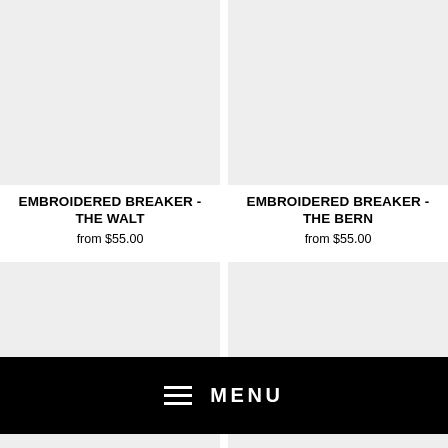[Figure (photo): Product image placeholder for Embroidered Breaker - The Walt (light gray background)]
[Figure (photo): Product image placeholder for Embroidered Breaker - The Bern (light gray background)]
EMBROIDERED BREAKER - THE WALT
from $55.00
EMBROIDERED BREAKER - THE BERN
from $55.00
[Figure (photo): Product image placeholder bottom left (light gray background)]
[Figure (photo): Product image placeholder bottom right (light gray background)]
MENU